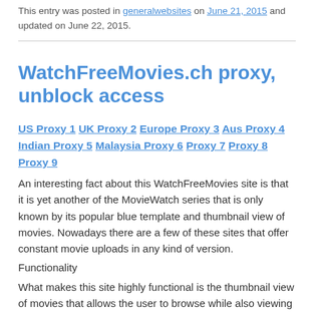This entry was posted in generalwebsites on June 21, 2015 and updated on June 22, 2015.
WatchFreeMovies.ch proxy, unblock access
US Proxy 1 UK Proxy 2 Europe Proxy 3 Aus Proxy 4 Indian Proxy 5 Malaysia Proxy 6 Proxy 7 Proxy 8 Proxy 9
An interesting fact about this WatchFreeMovies site is that it is yet another of the MovieWatch series that is only known by its popular blue template and thumbnail view of movies. Nowadays there are a few of these sites that offer constant movie uploads in any kind of version.
Functionality
What makes this site highly functional is the thumbnail view of movies that allows the user to browse while also viewing